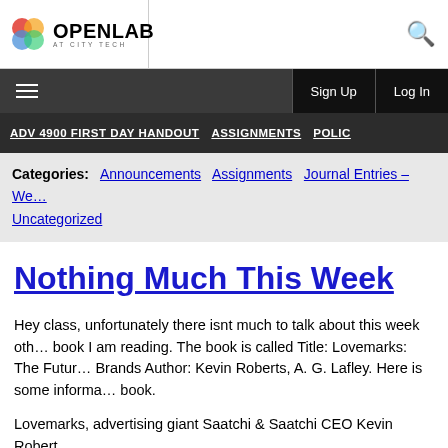[Figure (logo): OpenLab at City Tech logo with colored circles and text]
Sign Up   Log In
ADV 4900 FIRST DAY HANDOUT   ASSIGNMENTS   POLIC…
Categories:   Announcements   Assignments   Journal Entries – We…   Uncategorized
Nothing Much This Week
Hey class, unfortunately there isnt much to talk about this week oth… book I am reading. The book is called Title: Lovemarks: The Futur… Brands Author: Kevin Roberts, A. G. Lafley. Here is some informa… book.
Lovemarks, advertising giant Saatchi & Saatchi CEO Kevin Robert…